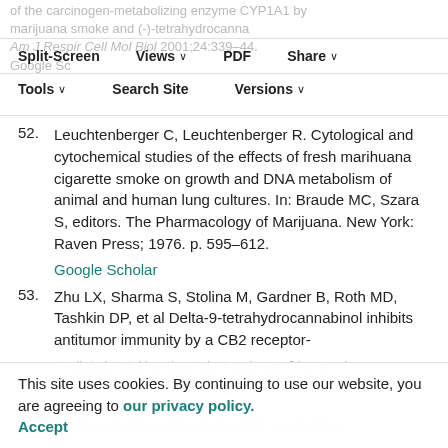of the carcinogen-metabolizing enzyme CYP1A1 by marijuana smoke and (9)-tetrahydrocannabinol. Am J Respir Cell Mol Biol 2001;24:339–44. Google Scholar Crossref
52. Leuchtenberger C, Leuchtenberger R. Cytological and cytochemical studies of the effects of fresh marihuana cigarette smoke on growth and DNA metabolism of animal and human lung cultures. In: Braude MC, Szara S, editors. The Pharmacology of Marijuana. New York: Raven Press; 1976. p. 595–612.
Google Scholar
53. Zhu LX, Sharma S, Stolina M, Gardner B, Roth MD, Tashkin DP, et al Delta-9-tetrahydrocannabinol inhibits antitumor immunity by a CB2 receptor-mediated, cytokine-dependent pathway. J Immunol 2000;165:373–80.
Google Scholar   Crossref
This site uses cookies. By continuing to use our website, you are agreeing to our privacy policy. Accept
54. Auerbach O, Stout AP, Hammond EC, Garfinkel L...